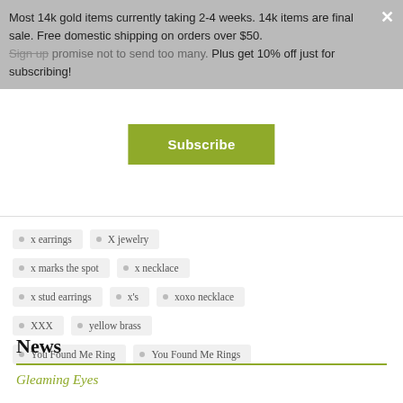Most 14k gold items currently taking 2-4 weeks. 14k items are final sale. Free domestic shipping on orders over $50. Sign up [strikethrough: promise not to send too many]. Plus get 10% off just for subscribing!
Subscribe
x earrings
X jewelry
x marks the spot
x necklace
x stud earrings
x's
xoxo necklace
XXX
yellow brass
You Found Me Ring
You Found Me Rings
News
Gleaming Eyes